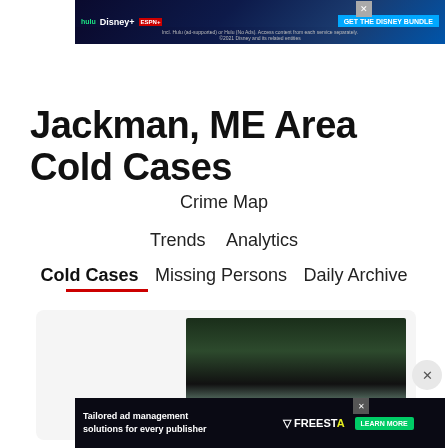[Figure (other): Disney Bundle advertisement banner with Hulu, Disney+, ESPN+ logos and GET THE DISNEY BUNDLE CTA]
Jackman, ME Area Cold Cases
Crime Map
Trends   Analytics
Cold Cases   Missing Persons   Daily Archive
[Figure (photo): Dark night sky or forest scene, partially visible within a card/panel]
[Figure (other): Tailored ad management solutions for every publisher - Freestar advertisement banner]